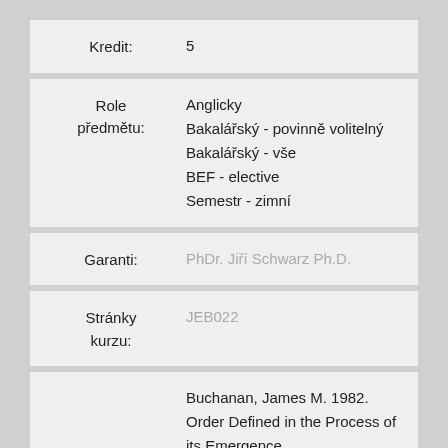| Label | Value |
| --- | --- |
| Kredit: | 5 |
| Role předmětu: | Anglicky
Bakalářský - povinně volitelný
Bakalářský - vše
BEF - elective
Semestr - zimní |
| Garanti: | PhDr. Jiří Schwarz Ph.D. |
| Stránky kurzu: | JEB022 |
|  | Buchanan, James M. 1982. Order Defined in the Process of its Emergence.
*Coase, R. H. 1998. The New |